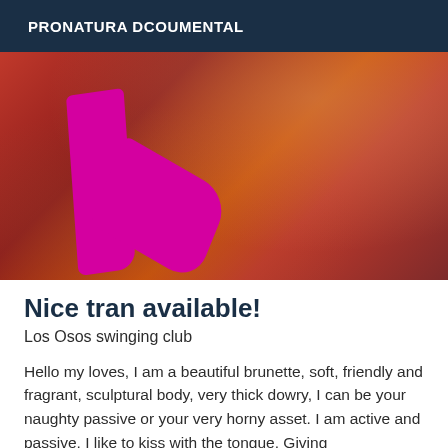PRONATURA DCOUMENTAL
[Figure (photo): Close-up photo showing skin tones in red/brown hues with a bright magenta/pink object]
Nice tran available!
Los Osos swinging club
Hello my loves, I am a beautiful brunette, soft, friendly and fragrant, sculptural body, very thick dowry, I can be your naughty passive or your very horny asset. I am active and passive, I like to kiss with the tongue. Giving